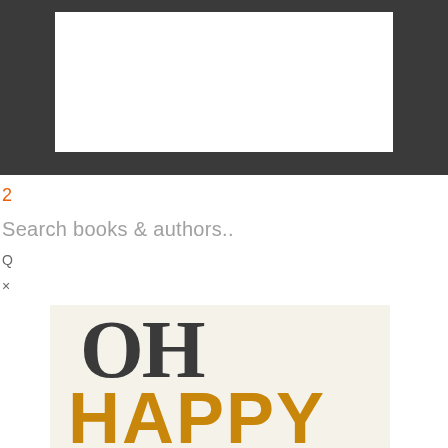[Figure (screenshot): Dark gray/charcoal rectangular frame or border shape (like a picture frame or screen bezel) with white interior, occupying the top portion of the page]
2
Search books & authors..
Q
×
[Figure (photo): Book cover partially visible showing large bold text 'OH' in dark charcoal and 'HAPPY' in gold/amber color, on a white/cream background]